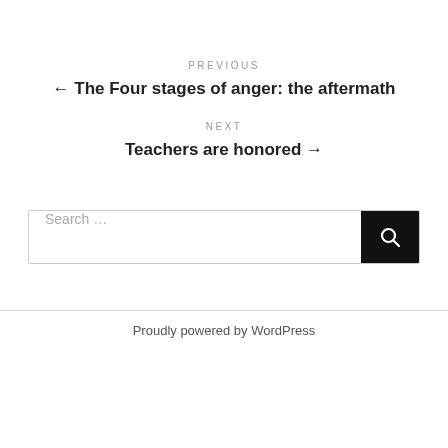PREVIOUS
← The Four stages of anger: the aftermath
NEXT
Teachers are honored →
Search …
Proudly powered by WordPress